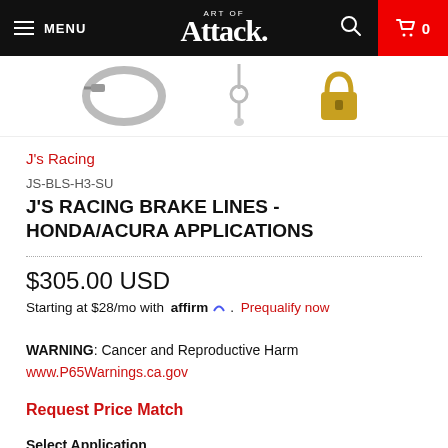MENU | Art of Attack. | 0
[Figure (photo): Three product thumbnail images of brake lines/components against white background]
J's Racing
JS-BLS-H3-SU
J'S RACING BRAKE LINES - HONDA/ACURA APPLICATIONS
$305.00 USD
Starting at $28/mo with affirm. Prequalify now
WARNING: Cancer and Reproductive Harm
www.P65Warnings.ca.gov
Request Price Match
Select Application